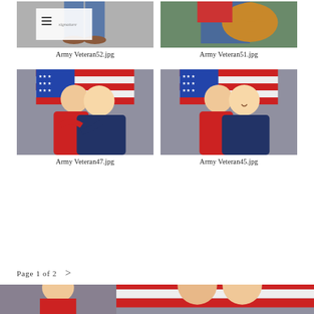[Figure (photo): Cropped photo showing legs/feet of a person in jeans and shoes, with a logo/watermark overlay (Army Veteran52.jpg)]
[Figure (photo): Cropped photo of a person holding a dog, wearing jeans (Army Veteran51.jpg)]
Army Veteran52.jpg
Army Veteran51.jpg
[Figure (photo): Two women hugging in front of an American flag; one in red turtleneck, one in navy blue (Army Veteran47.jpg)]
[Figure (photo): Two women posing in front of an American flag; one in red turtleneck, one in navy blue (Army Veteran45.jpg)]
Army Veteran47.jpg
Army Veteran45.jpg
Page 1 of 2 >
[Figure (photo): Partial bottom strip showing two more veteran photos partially visible]
[Figure (photo): Partial bottom strip right side showing two people]